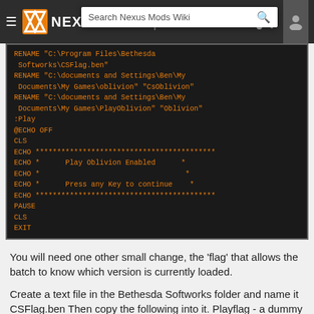NexusMods navigation bar with search
[Figure (screenshot): Code block showing batch script commands: RENAME paths, :Play label, @ECHO OFF, CLS, ECHO lines with asterisks and messages 'Play Oblivion Enabled' and 'Press any Key to continue', PAUSE, CLS, EXIT]
You will need one other small change, the 'flag' that allows the batch to know which version is currently loaded.
Create a text file in the Bethesda Softworks folder and name it CSFlag.ben Then copy the following into it. Playflag - a dummy program used only for its name, save it and be sure it has the